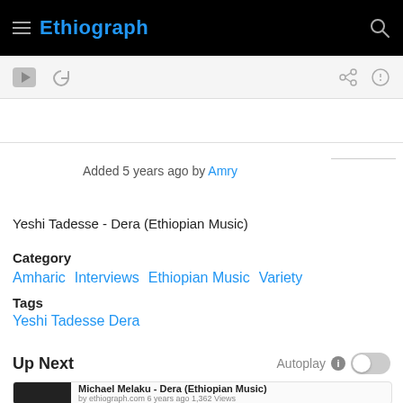Ethiograph
Added 5 years ago by Amry
Yeshi Tadesse - Dera (Ethiopian Music)
Category
Amharic  Interviews  Ethiopian Music  Variety
Tags
Yeshi Tadesse Dera
Up Next
Autoplay
Michael Melaku - Dera (Ethiopian Music)
by ethiograph.com 6 years ago 1,362 Views